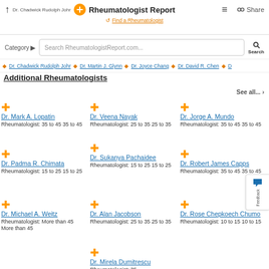Dr. Chadwick Rudolph Johr | Rheumatologist Report | Share
Find a Rheumatologist
Category | Search RheumatologistReport.com... | Search
Dr. Chadwick Rudolph Johr · Dr. Martin J. Glynn · Dr. Joyce Chang · Dr. David R. Chen · D
Additional Rheumatologists
See all... ›
Dr. Mark A. Lopatin
Rheumatologist: 35 to 45 35 to 45
Dr. Veena Nayak
Rheumatologist: 25 to 35 25 to 35
Dr. Jorge A. Mundo
Rheumatologist: 35 to 45 35 to 45
Dr. Padma R. Chimata
Rheumatologist: 15 to 25 15 to 25
Dr. Sukanya Pachaidee
Rheumatologist: 15 to 25 15 to 25
Dr. Robert James Capps
Rheumatologist: 35 to 45 35 to 45
Dr. Michael A. Weitz
Rheumatologist: More than 45 More than 45
Dr. Alan Jacobson
Rheumatologist: 25 to 35 25 to 35
Dr. Rose Chepkoech Chumo
Rheumatologist: 10 to 15 10 to 15
Dr. Mirela Dumitrescu
Rheumatologist: 35